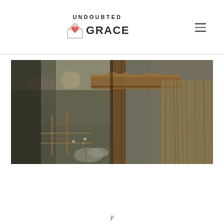UNDOUBTED GRACE — logo and navigation header
[Figure (photo): Outdoor rustic scene showing weathered wooden post and beam structure with dried grasses and vegetation, old fence and rocks visible in background, blurred foliage in the distance]
y